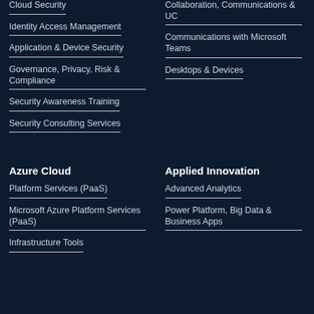Cloud Security
Identity Access Management
Application & Device Security
Governance, Privacy, Risk & Compliance
Security Awareness Training
Security Consulting Services
Collaboration, Communications & UC
Communications with Microsoft Teams
Desktops & Devices
Azure Cloud
Applied Innovation
Platform Services (PaaS)
Microsoft Azure Platform Services (PaaS)
Infrastructure Tools
Advanced Analytics
Power Platform, Big Data & Business Apps